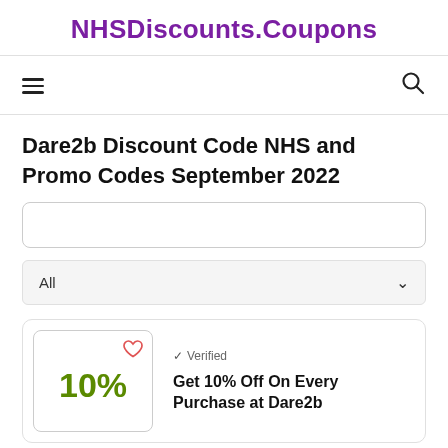NHSDiscounts.Coupons
Dare2b Discount Code NHS and Promo Codes September 2022
All
✓ Verified
Get 10% Off On Every Purchase at Dare2b